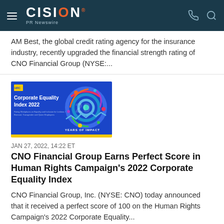CISION PR Newswire
AM Best, the global credit rating agency for the insurance industry, recently upgraded the financial strength rating of CNO Financial Group (NYSE:...
[Figure (illustration): Corporate Equality Index 2022 banner image with blue background showing '20 Years of Impact' text and colorful swirl design, Human Rights Campaign logo in top left corner]
JAN 27, 2022, 14:22 ET
CNO Financial Group Earns Perfect Score in Human Rights Campaign's 2022 Corporate Equality Index
CNO Financial Group, Inc. (NYSE: CNO) today announced that it received a perfect score of 100 on the Human Rights Campaign's 2022 Corporate Equality...